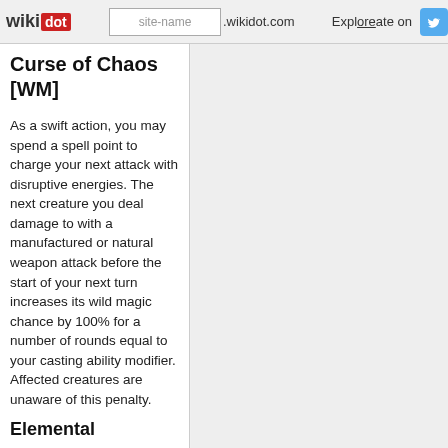wikidot | site-name .wikidot.com | Explore | Share on
Curse of Chaos [WM]
As a swift action, you may spend a spell point to charge your next attack with disruptive energies. The next creature you deal damage to with a manufactured or natural weapon attack before the start of your next turn increases its wild magic chance by 100% for a number of rounds equal to your casting ability modifier. Affected creatures are unaware of this penalty.
Elemental